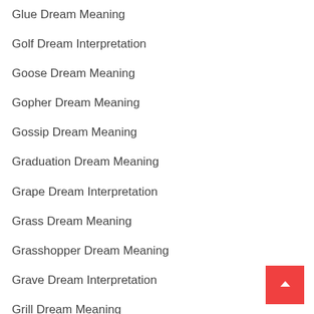Glue Dream Meaning
Golf Dream Interpretation
Goose Dream Meaning
Gopher Dream Meaning
Gossip Dream Meaning
Graduation Dream Meaning
Grape Dream Interpretation
Grass Dream Meaning
Grasshopper Dream Meaning
Grave Dream Interpretation
Grill Dream Meaning